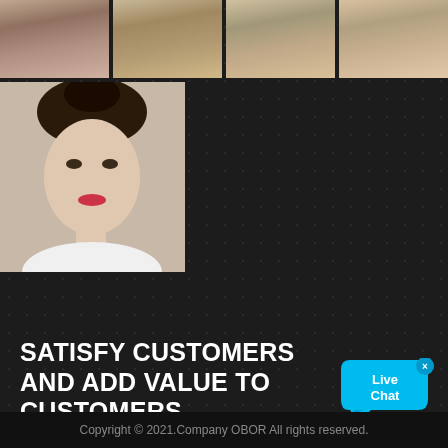[Figure (photo): Top row of four portrait photos of people (faces cropped) on dark background]
[Figure (photo): Second row with one large portrait photo of a woman smiling on the left, remaining space dark with dotted pattern]
SATISFY CUSTOMERS AND ADD VALUE TO CUSTOMERS
Our purpose is only one: customer satisfaction; the service staff must be anxious to the customer, think about what the customer thinks, and do their best to save the customer time and bring more residual value.
Copyright © 2021.Company OBOR All rights reserved.